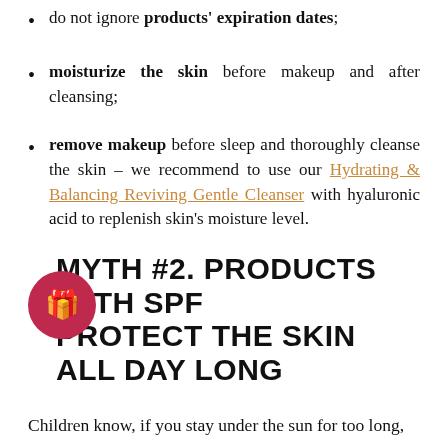do not ignore products' expiration dates;
moisturize the skin before makeup and after cleansing;
remove makeup before sleep and thoroughly cleanse the skin – we recommend to use our Hydrating & Balancing Reviving Gentle Cleanser with hyaluronic acid to replenish skin's moisture level.
MYTH #2. PRODUCTS WITH SPF PROTECT THE SKIN ALL DAY LONG
Children know, if you stay under the sun for too long,